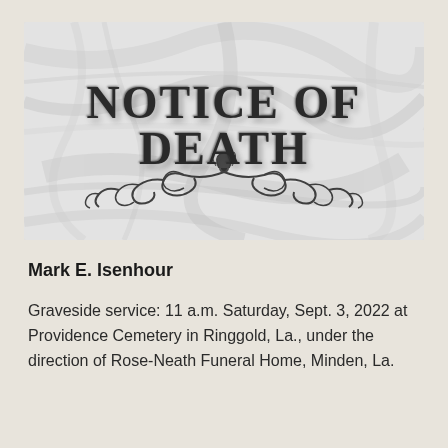[Figure (illustration): Notice of Death header image with marble stone background texture. Text reads 'NOTICE OF DEATH' in large bold serif letters with a decorative ornamental flourish below.]
Mark E. Isenhour
Graveside service: 11 a.m. Saturday, Sept. 3, 2022 at Providence Cemetery in Ringgold, La., under the direction of Rose-Neath Funeral Home, Minden, La.